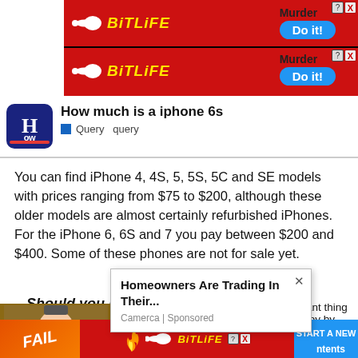[Figure (screenshot): BitLife mobile game advertisement banner with red background, sperm logo, yellow 'BitLife' text, 'Murder' label, and blue 'Do it!' button. Shown twice (two ad rows).]
How much is a iphone 6s
Query  query
You can find iPhone 4, 4S, 5, 5S, 5C and SE models with prices ranging from $75 to $200, although these older models are almost certainly refurbished iPhones. For the iPhone 6, 6S and 7 you pay between $200 and $400. Some of these phones are not for sale yet.
Should you buy an iPhone 6 or 6S?
[Figure (screenshot): Popup advertisement overlay: 'Homeowners Are Trading In Their...' from Camerca | Sponsored, with an X close button.]
important thing is of money by
buyin
mode
gono
[Figure (screenshot): BitLife bottom banner ad with FAIL text, fire graphic, sperm logo, 'START A NEW LIFE' text on blue background, and 'ntents' text.]